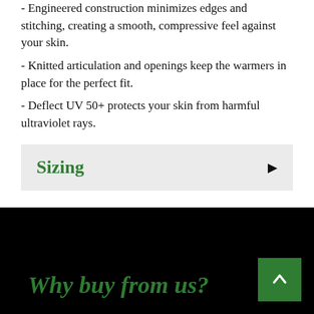- Engineered construction minimizes edges and stitching, creating a smooth, compressive feel against your skin.
- Knitted articulation and openings keep the warmers in place for the perfect fit.
- Deflect UV 50+ protects your skin from harmful ultraviolet rays.
Sizing
Why buy from us?